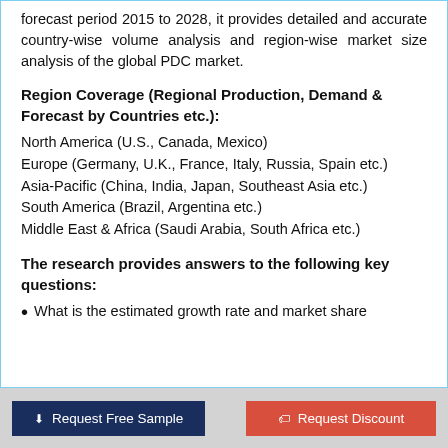forecast period 2015 to 2028, it provides detailed and accurate country-wise volume analysis and region-wise market size analysis of the global PDC market.
Region Coverage (Regional Production, Demand & Forecast by Countries etc.):
North America (U.S., Canada, Mexico)
Europe (Germany, U.K., France, Italy, Russia, Spain etc.)
Asia-Pacific (China, India, Japan, Southeast Asia etc.)
South America (Brazil, Argentina etc.)
Middle East & Africa (Saudi Arabia, South Africa etc.)
The research provides answers to the following key questions:
What is the estimated growth rate and market share